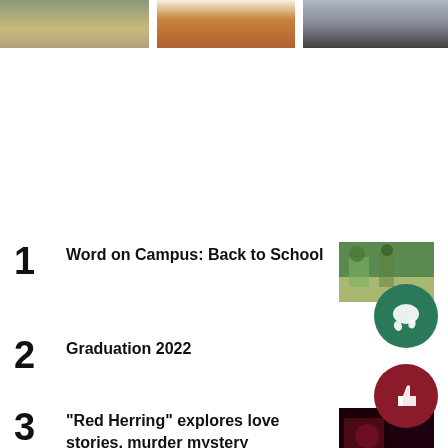[Figure (photo): Three photos in a horizontal strip at top: outdoor seating/furniture on left, a person in brown costume/dress in center, a person in black outfit on right]
1  Word on Campus: Back to School
[Figure (photo): Thumbnail photo of campus scene with people outdoors]
2  Graduation 2022
3  “Red Herring” explores love stories, murder mystery
[Figure (photo): Thumbnail photo of dark dramatic scene, possibly theater]